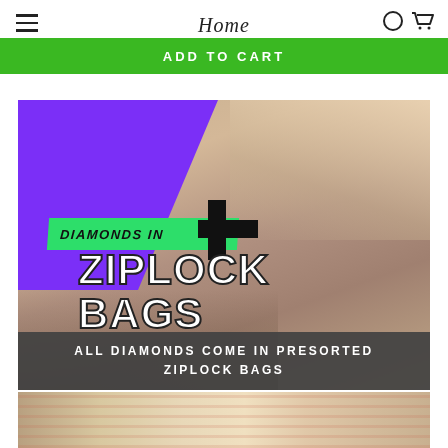Home  ADD TO CART
[Figure (photo): Diamond painting supplies showing ziplock bags filled with colored diamonds/rhinestones arranged on a canvas, with a hand using a stylus tool. Purple shape overlay on left, green banner reading DIAMONDS IN, large white text ZIPLOCK BAGS. Dark caption bar: ALL DIAMONDS COME IN PRESORTED ZIPLOCK BAGS.]
ALL DIAMONDS COME IN PRESORTED ZIPLOCK BAGS
[Figure (photo): Close-up of diamond painting canvas with numbered grid and colorful diamond beads placed on it.]